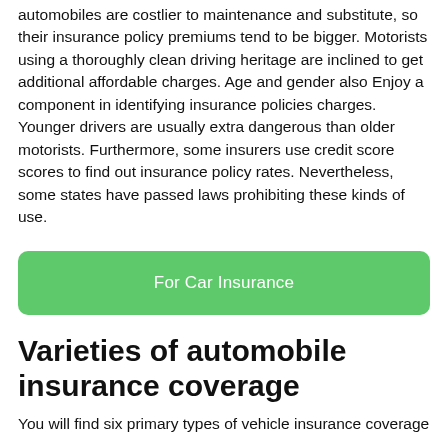automobiles are costlier to maintenance and substitute, so their insurance policy premiums tend to be bigger. Motorists using a thoroughly clean driving heritage are inclined to get additional affordable charges. Age and gender also Enjoy a component in identifying insurance policies charges. Younger drivers are usually extra dangerous than older motorists. Furthermore, some insurers use credit score scores to find out insurance policy rates. Nevertheless, some states have passed laws prohibiting these kinds of use.
[Figure (other): Green rounded button labeled 'For Car Insurance']
Varieties of automobile insurance coverage
You will find six primary types of vehicle insurance coverage